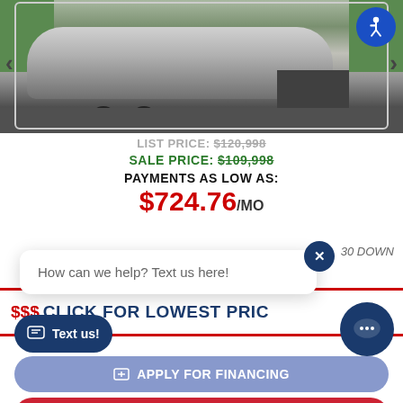[Figure (photo): Photo of a silver Airstream travel trailer parked outdoors on a driveway with green grass in the background. Navigation arrows visible on left and right sides. Accessibility icon (blue circle with person symbol) in top right corner.]
LIST PRICE: $120,998
SALE PRICE: $109,998
PAYMENTS AS LOW AS:
$724.76/MO
How can we help? Text us here!
30 DOWN
$$$ CLICK FOR LOWEST PRICE
Text us!
APPLY FOR FINANCING
DETAILS